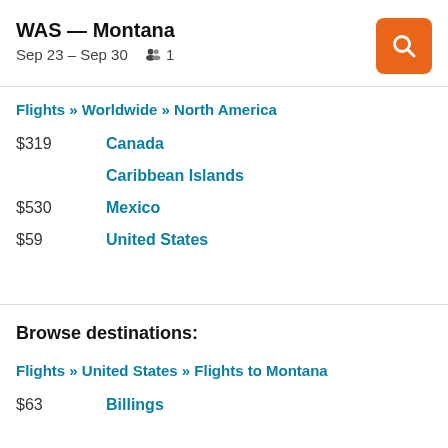WAS — Montana
Sep 23 – Sep 30   👥 1
Flights » Worldwide » North America
$319   Canada
Caribbean Islands
$530   Mexico
$59   United States
Browse destinations:
Flights » United States » Flights to Montana
$63   Billings